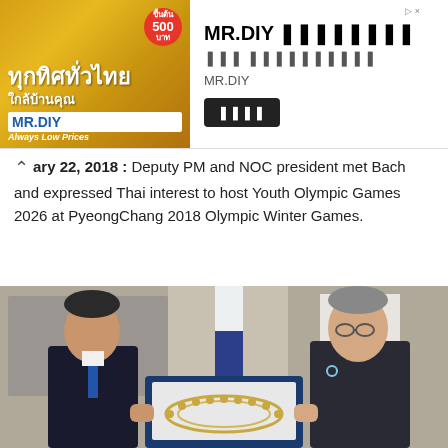[Figure (other): MR.DIY advertisement banner with Thai text and promotional imagery]
ary 22, 2018 : Deputy PM and NOC president met Bach and expressed Thai interest to host Youth Olympic Games 2026 at PyeongChang 2018 Olympic Winter Games.
[Figure (photo): Two men holding an open blue box containing a decorative pearl necklace/garland gift, with Thai and Olympic flags in the background]